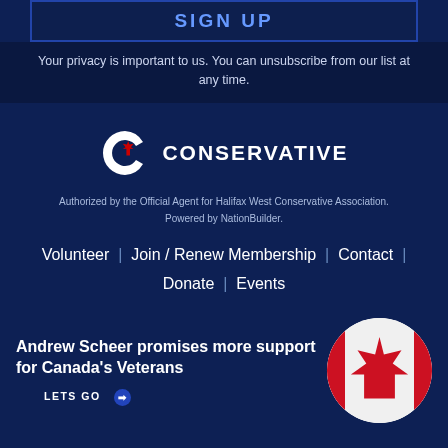SIGN UP
Your privacy is important to us. You can unsubscribe from our list at any time.
[Figure (logo): Conservative Party of Canada 'C' logo with maple leaf, followed by text CONSERVATIVE]
Authorized by the Official Agent for Halifax West Conservative Association. Powered by NationBuilder.
Volunteer | Join / Renew Membership | Contact | Donate | Events
Andrew Scheer promises more support for Canada's Veterans
[Figure (photo): Circular photo of Canadian flag with red maple leaf on white background]
LETS GO ❯